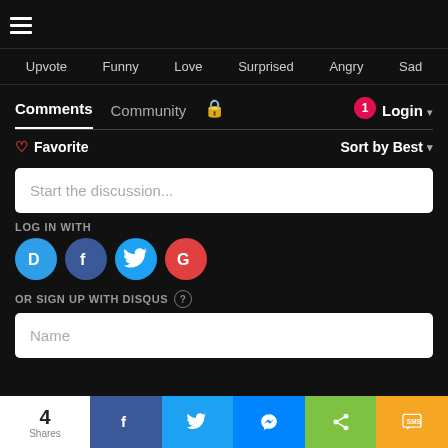[Figure (screenshot): Hamburger menu icon (three horizontal white lines) on dark background]
Upvote  Funny  Love  Surprised  Angry  Sad
Comments  Community  🔒  1  Login ▾
♡ Favorite
Sort by Best ▾
Start the discussion...
LOG IN WITH
[Figure (logo): Social login buttons: Disqus (blue D), Facebook (dark blue f), Twitter (light blue bird), Google (red G)]
OR SIGN UP WITH DISQUS ?
Name
4
Shares
[Figure (infographic): Bottom share bar with Facebook, Twitter, Messenger, share, and SMS buttons]